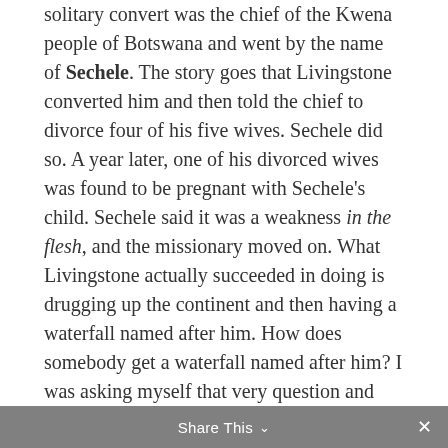solitary convert was the chief of the Kwena people of Botswana and went by the name of Sechele. The story goes that Livingstone converted him and then told the chief to divorce four of his five wives. Sechele did so. A year later, one of his divorced wives was found to be pregnant with Sechele's child. Sechele said it was a weakness in the flesh, and the missionary moved on. What Livingstone actually succeeded in doing is drugging up the continent and then having a waterfall named after him. How does somebody get a waterfall named after him? I was asking myself that very question and
Share This ∨  ×